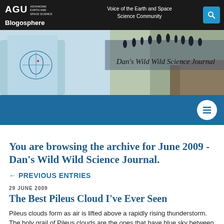AGU Blogosphere — Voice of the Earth and Space Science Community
[Figure (screenshot): AGU Blogosphere banner with Dan's Wild Wild Science Journal header showing ice formations and cracked earth imagery]
[Figure (other): Blue navigation bar with hamburger menu button]
You are browsing the archive for June 2009 - Dan's Wild Wild Science Journal.
← PREVIOUS ENTRIES
29 JUNE 2009
The Best Pileus Cloud I've Ever Seen
Pileus clouds form as air is lifted above a rapidly rising thunderstorm. The holy grail of Pileus clouds are the ones that have blue sky between the cloud and the top of the